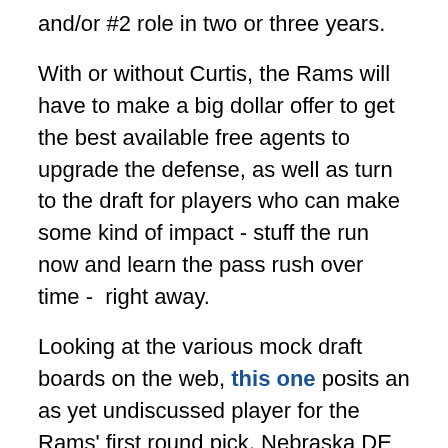and/or #2 role in two or three years.
With or without Curtis, the Rams will have to make a big dollar offer to get the best available free agents to upgrade the defense, as well as turn to the draft for players who can make some kind of impact - stuff the run now and learn the pass rush over time -  right away.
Looking at the various mock draft boards on the web, this one posits an as yet undiscussed player for the Rams' first round pick, Nebraska DE Adam Carriker.  In his last two seasons with the Huskers, Carriker has been named to the AP's All Big-12 First Team. Per HuskerIllustrated, Carriker will go down as "one of the better defensive ends in school history." Not bad for a school that gave us former Rams DE Grant Wistrom.